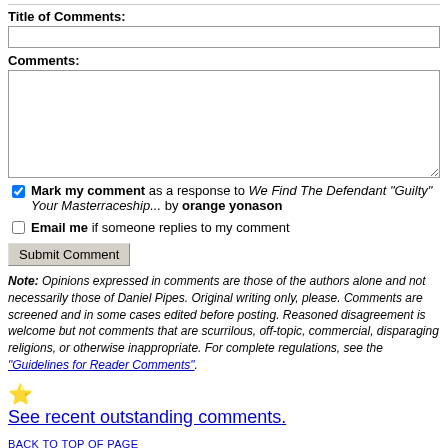Title of Comments:
Comments:
Mark my comment as a response to We Find The Defendant "Guilty" Your Masterraceship... by orange yonason
Email me if someone replies to my comment
Submit Comment
Note: Opinions expressed in comments are those of the authors alone and not necessarily those of Daniel Pipes. Original writing only, please. Comments are screened and in some cases edited before posting. Reasoned disagreement is welcome but not comments that are scurrilous, off-topic, commercial, disparaging religions, or otherwise inappropriate. For complete regulations, see the "Guidelines for Reader Comments".
See recent outstanding comments.
BACK TO TOP OF PAGE